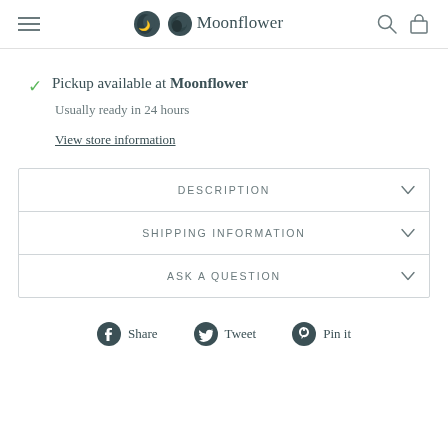Moonflower
Pickup available at Moonflower
Usually ready in 24 hours
View store information
DESCRIPTION
SHIPPING INFORMATION
ASK A QUESTION
Share   Tweet   Pin it